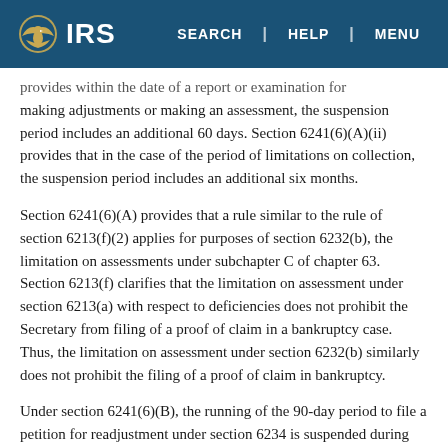IRS | SEARCH | HELP | MENU
provides within the date of a report or examination for making adjustments or making an assessment, the suspension period includes an additional 60 days. Section 6241(6)(A)(ii) provides that in the case of the period of limitations on collection, the suspension period includes an additional six months.
Section 6241(6)(A) provides that a rule similar to the rule of section 6213(f)(2) applies for purposes of section 6232(b), the limitation on assessments under subchapter C of chapter 63. Section 6213(f) clarifies that the limitation on assessment under section 6213(a) with respect to deficiencies does not prohibit the Secretary from filing of a proof of claim in a bankruptcy case. Thus, the limitation on assessment under section 6232(b) similarly does not prohibit the filing of a proof of claim in bankruptcy.
Under section 6241(6)(B), the running of the 90-day period to file a petition for readjustment under section 6234 is suspended during the period during which the partnership is prohibited by reason of a bankruptcy case